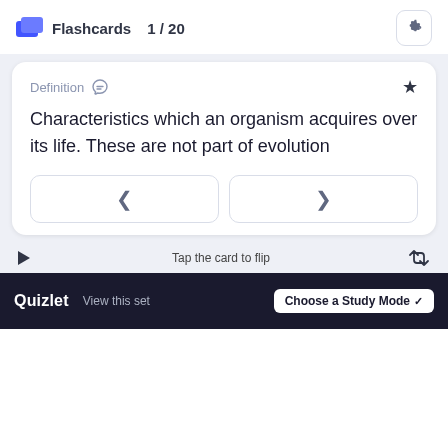Flashcards  1 / 20
Definition
Characteristics which an organism acquires over its life. These are not part of evolution
Tap the card to flip
Quizlet  View this set  Choose a Study Mode